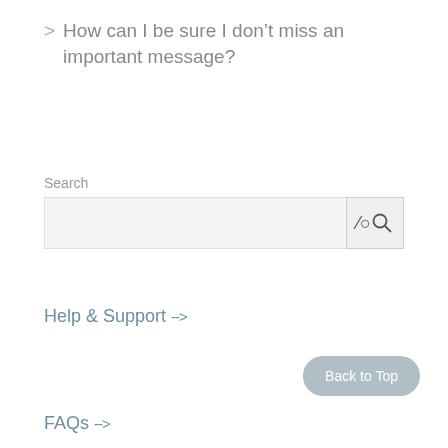> How can I be sure I don’t miss an important message?
Search
[Figure (other): Search input box with a search button on the right containing a magnifying glass icon]
Help & Support →
Back to Top
FAQs →